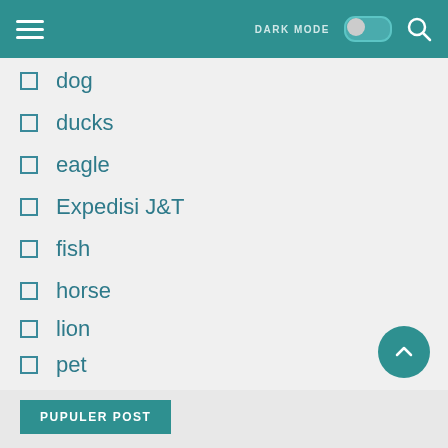DARK MODE [toggle] [search]
dog
ducks
eagle
Expedisi J&T
fish
horse
lion
pet
rabbit
SiCepat
PUPULER POST